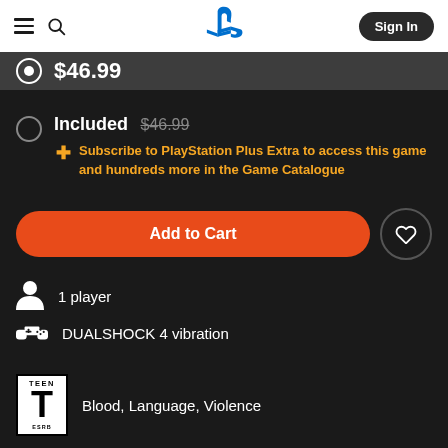[Figure (screenshot): PlayStation Store website navigation bar with hamburger menu, search icon, PlayStation logo, and Sign In button]
$46.99
Included $46.99
Subscribe to PlayStation Plus Extra to access this game and hundreds more in the Game Catalogue
Add to Cart
1 player
DUALSHOCK 4 vibration
Blood, Language, Violence